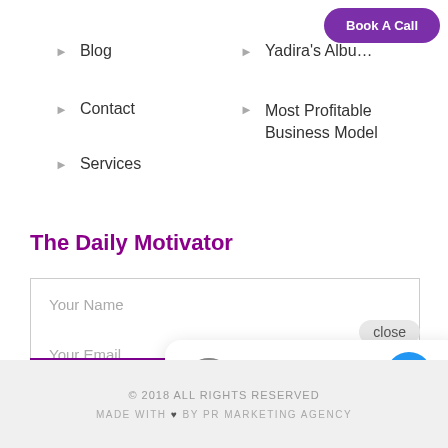Book A Call
Blog
Contact
Services
Yadira's Albu...
Most Profitable Business Model
The Daily Motivator
Your Name
Your Email
close
Hi there, have a question? Text us here.
© 2018 ALL RIGHTS RESERVED
MADE WITH ♥ BY PR MARKETING AGENCY